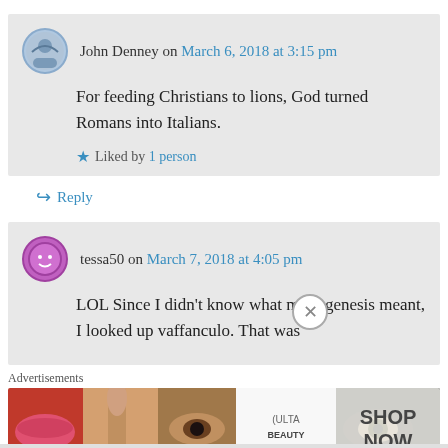John Denney on March 6, 2018 at 3:15 pm
For feeding Christians to lions, God turned Romans into Italians.
Liked by 1 person
Reply
tessa50 on March 7, 2018 at 4:05 pm
LOL Since I didn't know what monogenesis meant, I looked up vaffanculo. That was
Advertisements
[Figure (photo): Ulta Beauty advertisement banner showing makeup and eyes, with SHOP NOW button]